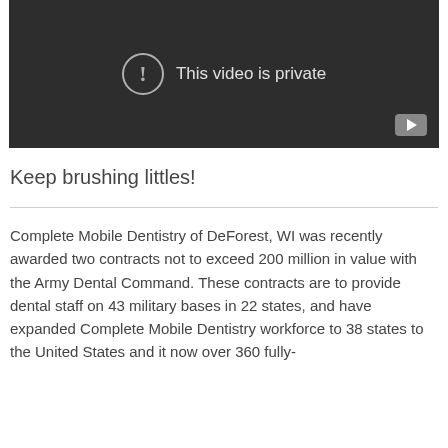[Figure (screenshot): A dark-background video player showing 'This video is private' message with a circular exclamation icon and a YouTube play button in the bottom right corner.]
Keep brushing littles!
Complete Mobile Dentistry of DeForest, WI was recently awarded two contracts not to exceed 200 million in value with the Army Dental Command. These contracts are to provide dental staff on 43 military bases in 22 states, and have expanded Complete Mobile Dentistry workforce to 38 states to the United States and it now over 360 fully-